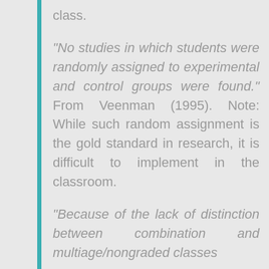class.
“No studies in which students were randomly assigned to experimental and control groups were found.” From Veenman (1995). Note: While such random assignment is the gold standard in research, it is difficult to implement in the classroom.
“Because of the lack of distinction between combination and multiage/nongraded classes